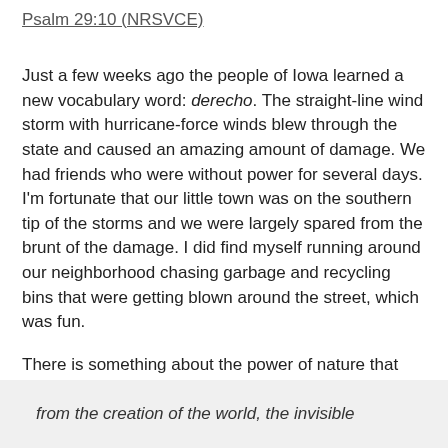Psalm 29:10 (NRSVCE)
Just a few weeks ago the people of Iowa learned a new vocabulary word: derecho. The straight-line wind storm with hurricane-force winds blew through the state and caused an amazing amount of damage. We had friends who were without power for several days. I'm fortunate that our little town was on the southern tip of the storms and we were largely spared from the brunt of the damage. I did find myself running around our neighborhood chasing garbage and recycling bins that were getting blown around the street, which was fun.
There is something about the power of nature that both reminds us how powerless we are, and reminds us of Power greater than ourselves. Paul wrote to the followers of Jesus in Rome and said:
from the creation of the world, the invisible